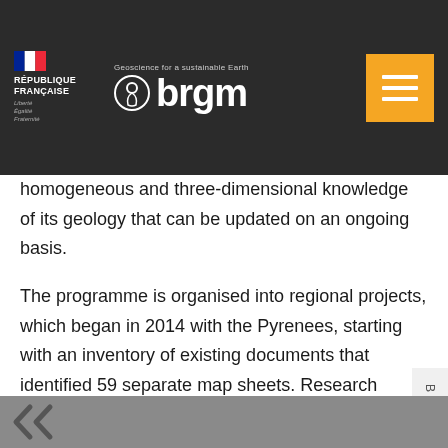BRGM — Geoscience for a sustainable Earth | RÉPUBLIQUE FRANÇAISE
homogeneous and three-dimensional knowledge of its geology that can be updated on an ongoing basis.
The programme is organised into regional projects, which began in 2014 with the Pyrenees, starting with an inventory of existing documents that identified 59 separate map sheets. Research involving new field surveys was needed, not only to acquire new data but also to resolve existing inconsistencies and uncertainties.